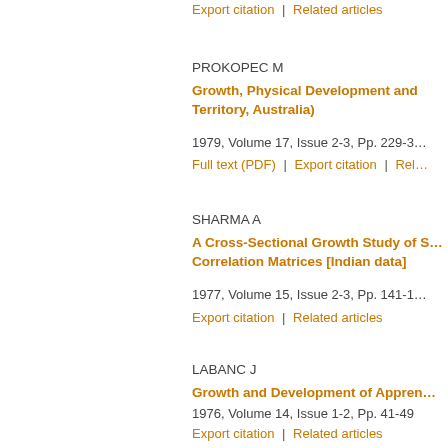Export citation | Related articles
PROKOPEC M
Growth, Physical Development and ... Territory, Australia)
1979, Volume 17, Issue 2-3, Pp. 229-3...
Full text (PDF) | Export citation | Rel...
SHARMA A
A Cross-Sectional Growth Study of S... Correlation Matrices [Indian data]
1977, Volume 15, Issue 2-3, Pp. 141-1...
Export citation | Related articles
LABANC J
Growth and Development of Appren...
1976, Volume 14, Issue 1-2, Pp. 41-49
Export citation | Related articles